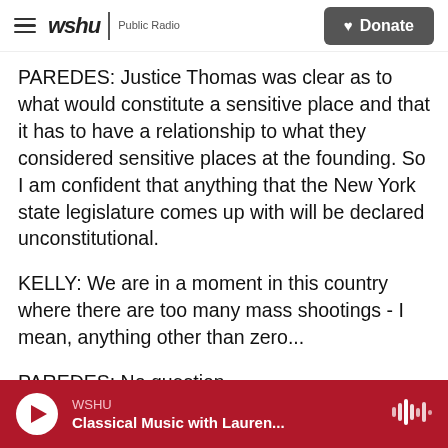wshu | Public Radio   ♥ Donate
PAREDES: Justice Thomas was clear as to what would constitute a sensitive place and that it has to have a relationship to what they considered sensitive places at the founding. So I am confident that anything that the New York state legislature comes up with will be declared unconstitutional.
KELLY: We are in a moment in this country where there are too many mass shootings - I mean, anything other than zero...
PAREDES: No question.
KELLY: ...Would be too many, of course - where
WSHU  Classical Music with Lauren...